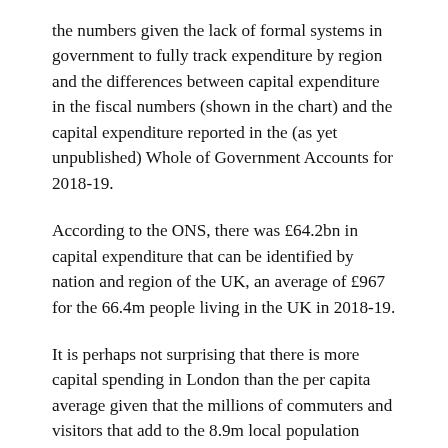the numbers given the lack of formal systems in government to fully track expenditure by region and the differences between capital expenditure in the fiscal numbers (shown in the chart) and the capital expenditure reported in the (as yet unpublished) Whole of Government Accounts for 2018-19.
According to the ONS, there was £64.2bn in capital expenditure that can be identified by nation and region of the UK, an average of £967 for the 66.4m people living in the UK in 2018-19.
It is perhaps not surprising that there is more capital spending in London than the per capita average given that the millions of commuters and visitors that add to the 8.9m local population every day. However, the scale of the difference is substantial with £13bn invested in 2018-19, an average of £1,456 per person – £489 more than the UK average.